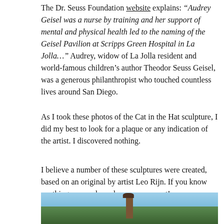The Dr. Seuss Foundation website explains: “Audrey Geisel was a nurse by training and her support of mental and physical health led to the naming of the Geisel Pavilion at Scripps Green Hospital in La Jolla…” Audrey, widow of La Jolla resident and world-famous children’s author Theodor Seuss Geisel, was a generous philanthropist who touched countless lives around San Diego.
As I took these photos of the Cat in the Hat sculpture, I did my best to look for a plaque or any indication of the artist. I discovered nothing.
I believe a number of these sculptures were created, based on an original by artist Leo Rijn. If you know anything more, please leave a comment!
[Figure (photo): Outdoor photo showing the top portion of a Cat in the Hat sculpture against a blue sky with trees in the background]